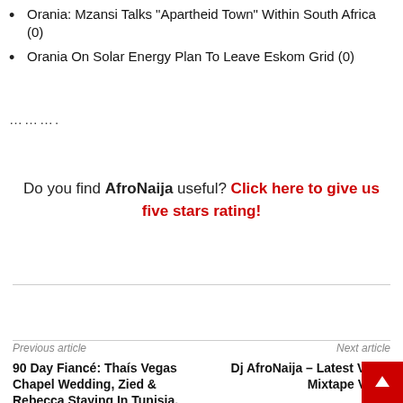Orania: Mzansi Talks “Apartheid Town” Within South Africa (0)
Orania On Solar Energy Plan To Leave Eskom Grid (0)
…………
Do you find AfroNaija useful? Click here to give us five stars rating!
Previous article
Next article
90 Day Fiancé: Thaís Vegas Chapel Wedding, Zied & Rebecca Staying In Tunisia,
Dj AfroNaija – Latest Vibes Mixtape Vol. 7